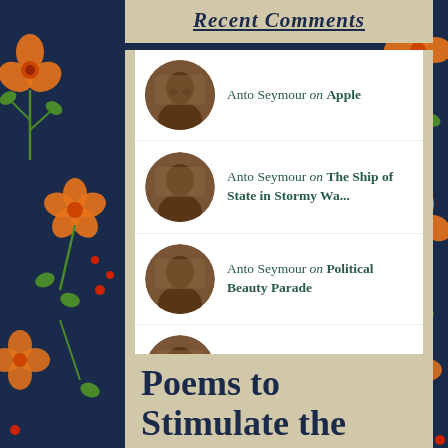Recent Comments
Anto Seymour on Apple
Anto Seymour on The Ship of State in Stormy Wa...
Anto Seymour on Political Beauty Parade
Anto Seymour on You Can't Beat Beans!
Anto Seymour on Harvest Home
Poems to Stimulate the Mind